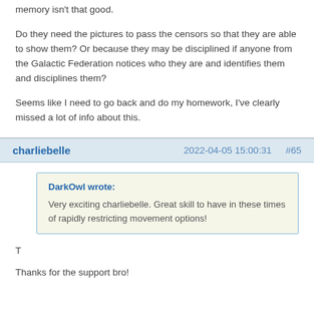memory isn't that good.
Do they need the pictures to pass the censors so that they are able to show them? Or because they may be disciplined if anyone from the Galactic Federation notices who they are and identifies them and disciplines them?
Seems like I need to go back and do my homework, I've clearly missed a lot of info about this.
charliebelle   2022-04-05 15:00:31   #65
DarkOwl wrote: Very exciting charliebelle. Great skill to have in these times of rapidly restricting movement options!
T
Thanks for the support bro!